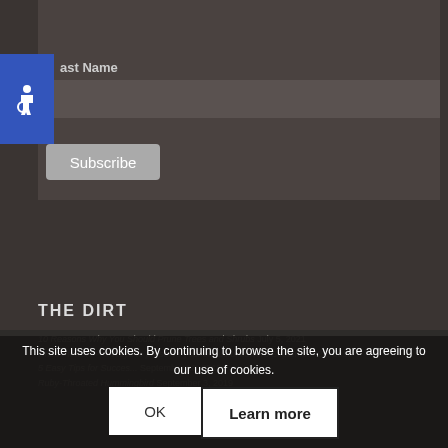[Figure (other): Accessibility icon - blue square with wheelchair symbol]
ast Name
[Figure (other): Last Name text input field]
Subscribe
THE DIRT
10 Reasons Why You Should Prune Trees and Shrubs July 5, 2021
Dried Flowers – 3 Ways to preserve your beautiful flowers September 25, 2019
5 Easy Tips for Success... September 18, 2019
Ruby-Throated Hummingbird September 3, 2019
This site uses cookies. By continuing to browse the site, you are agreeing to our use of cookies.
OK
Learn more